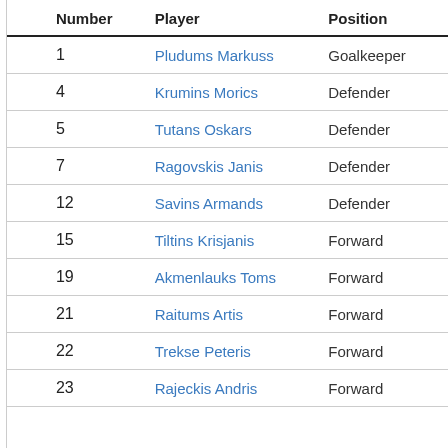|  | Number | Player | Position |
| --- | --- | --- | --- |
|  | 1 | Pludums Markuss | Goalkeeper |
|  | 4 | Krumins Morics | Defender |
|  | 5 | Tutans Oskars | Defender |
|  | 7 | Ragovskis Janis | Defender |
|  | 12 | Savins Armands | Defender |
|  | 15 | Tiltins Krisjanis | Forward |
|  | 19 | Akmenlauks Toms | Forward |
|  | 21 | Raitums Artis | Forward |
|  | 22 | Trekse Peteris | Forward |
|  | 23 | Rajeckis Andris | Forward |